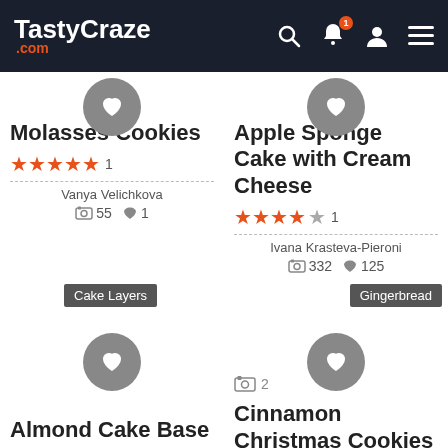TastyCraze.com
Molasses Cookies
★★★★★ 1
Vanya Velichkova | 55 recipes | 1 like
Cake Layers
Apple Sponge Cake with Cream Cheese
★★★★☆ 1
Ivana Krasteva-Pieroni | 332 recipes | 125 likes
Gingerbread
Almond Cake Base
Cinnamon Christmas Cookies with Honey
2 photos